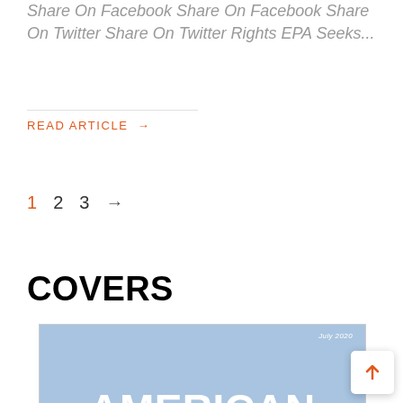Share On Facebook Share On Facebook Share On Twitter Share On Twitter Rights EPA Seeks...
READ ARTICLE →
1  2  3  →
COVERS
[Figure (screenshot): Magazine cover thumbnail showing 'AMERICAN MOTORCYCLIST' text on a blue background, dated July 2020]